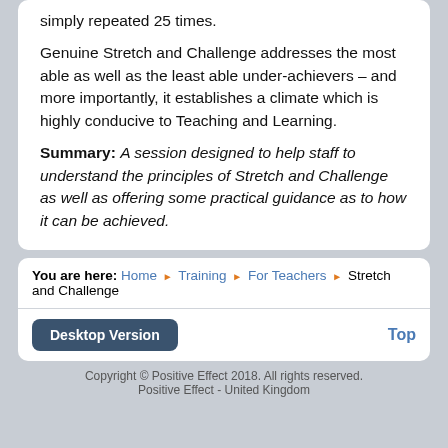simply repeated 25 times.
Genuine Stretch and Challenge addresses the most able as well as the least able under-achievers – and more importantly, it establishes a climate which is highly conducive to Teaching and Learning.
Summary: A session designed to help staff to understand the principles of Stretch and Challenge as well as offering some practical guidance as to how it can be achieved.
You are here: Home ▶ Training ▶ For Teachers ▶ Stretch and Challenge
Desktop Version    Top
Copyright © Positive Effect 2018. All rights reserved. Positive Effect - United Kingdom